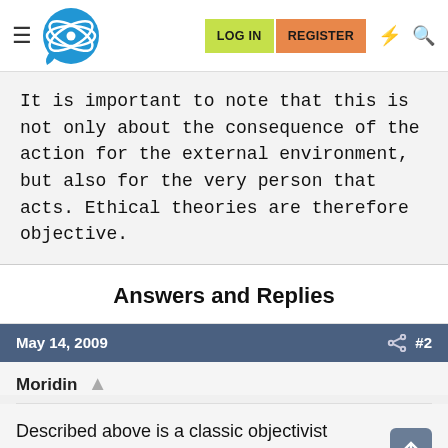LOG IN  REGISTER
It is important to note that this is not only about the consequence of the action for the external environment, but also for the very person that acts. Ethical theories are therefore objective.
Answers and Replies
May 14, 2009   #2
Moridin
Described above is a classic objectivist defense of ethical realism.